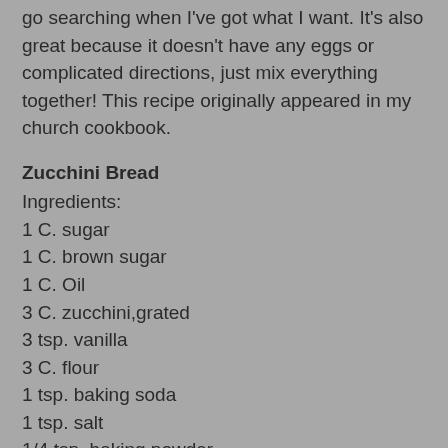go searching when I've got what I want. It's also great because it doesn't have any eggs or complicated directions, just mix everything together! This recipe originally appeared in my church cookbook.
Zucchini Bread
Ingredients:
1 C. sugar
1 C. brown sugar
1 C. Oil
3 C. zucchini,grated
3 tsp. vanilla
3 C. flour
1 tsp. baking soda
1 tsp. salt
1/4 tsp. baking powder
3 tsp. cinnamon
1/2 C. nuts/raisins, optional (I don't put in because of my preference)
Directions:
Mix together, Bake for 1 hour at 325°F. Make 1 (9X13 inch pan) or 2 loaf pans.